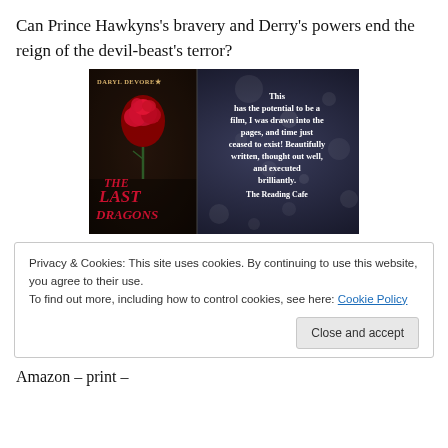Can Prince Hawkyns's bravery and Derry's powers end the reign of the devil-beast's terror?
[Figure (illustration): Book cover promotional image for 'The Last Dragons' by Daryl Devore, showing a dark fantasy book cover on the left with a red rose and the title in red text, and a review quote on the right reading: 'This has the potential to be a film, I was drawn into the pages, and time just ceased to exist! Beautifully written, thought out well, and executed brilliantly. The Reading Cafe' — all on a dark bokeh background.]
Privacy & Cookies: This site uses cookies. By continuing to use this website, you agree to their use.
To find out more, including how to control cookies, see here: Cookie Policy
Close and accept
Amazon – print –